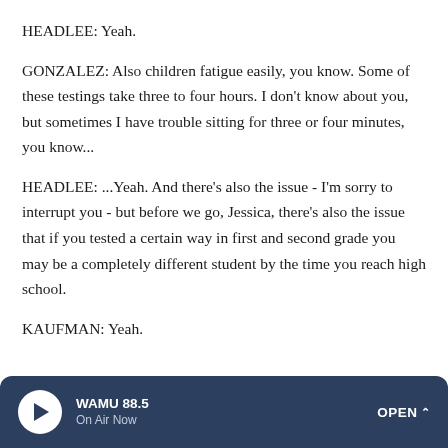HEADLEE: Yeah.
GONZALEZ: Also children fatigue easily, you know. Some of these testings take three to four hours. I don't know about you, but sometimes I have trouble sitting for three or four minutes, you know...
HEADLEE: ...Yeah. And there's also the issue - I'm sorry to interrupt you - but before we go, Jessica, there's also the issue that if you tested a certain way in first and second grade you may be a completely different student by the time you reach high school.
KAUFMAN: Yeah.
WAMU 88.5 On Air Now OPEN ^